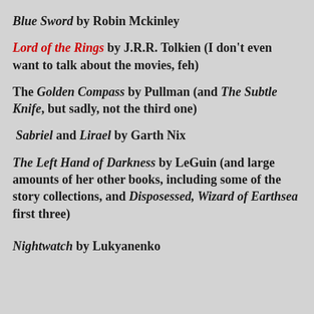Blue Sword by Robin Mckinley
Lord of the Rings by J.R.R. Tolkien (I don't even want to talk about the movies, feh)
The Golden Compass by Pullman (and The Subtle Knife, but sadly, not the third one)
Sabriel and Lirael by Garth Nix
The Left Hand of Darkness by LeGuin (and large amounts of her other books, including some of the story collections, and Disposessed, Wizard of Earthsea first three)
Nightwatch by Lukyanenko